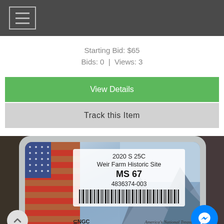[Figure (screenshot): Dark top header bar with hamburger menu icon (three horizontal lines) in a bordered box]
Starting Bid: $65
Bids: 0  |  Views: 3
View Details
Track this Item
[Figure (photo): NGC graded coin slab showing label: 2020 S 25C Weir Farm Historic Site MS 67, serial 4836374-003, with NGC logo and America's National Treasures tagline. Coin slab has grey plastic case with blue gradient label featuring American flag and mountain scenery. A Messenger chat button is visible bottom right, and a scroll-up arrow button bottom left.]